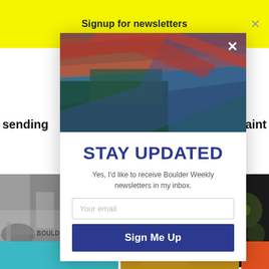Signup for newsletters
sending
estraint
[Figure (photo): Colorful aerial or satellite view of red-striped mountain rock formations with blue-green forested valleys]
STAY UPDATED
Yes, I'd like to receive Boulder Weekly newsletters in my inbox.
Your email
Sign Me Up
[Figure (photo): Black and white photo of a rocky stream or waterfall scene]
Changing minds 3 m
[Figure (photo): Dark close-up photo of insects or beetles]
en there's
ALSO ON BOULDER WEEKLY
[Figure (photo): Teal/cyan colored image thumbnail]
[Figure (photo): Yellow/orange image thumbnail]